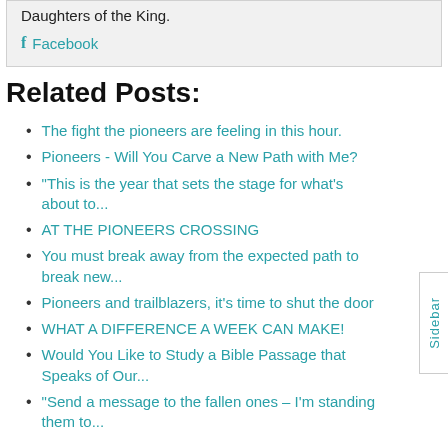Daughters of the King.
Facebook
Related Posts:
The fight the pioneers are feeling in this hour.
Pioneers - Will You Carve a New Path with Me?
"This is the year that sets the stage for what's about to...
AT THE PIONEERS CROSSING
You must break away from the expected path to break new...
Pioneers and trailblazers, it's time to shut the door
WHAT A DIFFERENCE A WEEK CAN MAKE!
Would You Like to Study a Bible Passage that Speaks of Our...
"Send a message to the fallen ones – I'm standing them to...